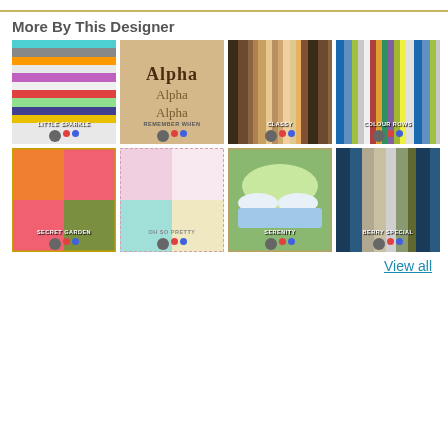More By This Designer
[Figure (photo): Thumbnail 1: Little Sparkle - glitter stripe paper pack]
[Figure (photo): Thumbnail 2: Remember When - alpha letters on tan background]
[Figure (photo): Thumbnail 3: Classy - vertical stripe paper pack in browns and tans]
[Figure (photo): Thumbnail 4: Colour Rows - glitter stripe paper pack in multicolor]
[Figure (photo): Thumbnail 5: Secret Garden - scrapbook kit with orange and pink]
[Figure (photo): Thumbnail 6: Oh So Pretty - pink grid paper pack]
[Figure (photo): Thumbnail 7: Serenity - nature scene scrapbook kit]
[Figure (photo): Thumbnail 8: Berry Special - polka dot paper pack]
View all